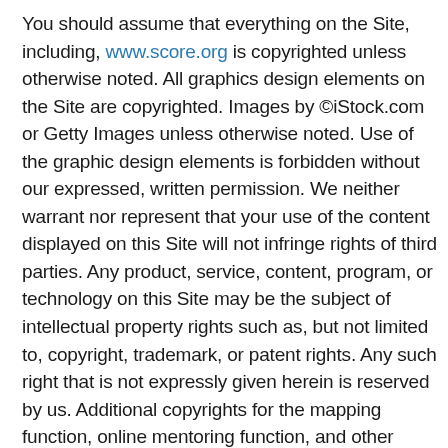You should assume that everything on the Site, including, www.score.org is copyrighted unless otherwise noted. All graphics design elements on the Site are copyrighted. Images by ©iStock.com or Getty Images unless otherwise noted. Use of the graphic design elements is forbidden without our expressed, written permission. We neither warrant nor represent that your use of the content displayed on this Site will not infringe rights of third parties. Any product, service, content, program, or technology on this Site may be the subject of intellectual property rights such as, but not limited to, copyright, trademark, or patent rights. Any such right that is not expressly given herein is reserved by us. Additional copyrights for the mapping function, online mentoring function, and other technologies are below.